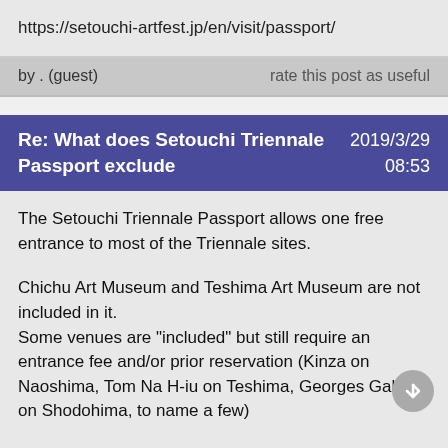https://setouchi-artfest.jp/en/visit/passport/
by . (guest)   rate this post as useful
Re: What does Setouchi Triennale Passport exclude   2019/3/29   08:53
The Setouchi Triennale Passport allows one free entrance to most of the Triennale sites.
Chichu Art Museum and Teshima Art Museum are not included in it.
Some venues are "included" but still require an entrance fee and/or prior reservation (Kinza on Naoshima, Tom Na H-iu on Teshima, Georges Gallery on Shodohima, to name a few)
Some other artworks are located inside venues that have an entrance fee (Megijima's Cave, Takamatsu's swimming pool, etc). These entrance fees are not covered by the